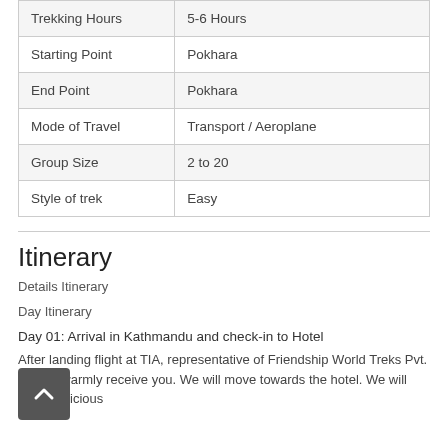|  |  |
| --- | --- |
| Trekking Hours | 5-6 Hours |
| Starting Point | Pokhara |
| End Point | Pokhara |
| Mode of Travel | Transport / Aeroplane |
| Group Size | 2 to 20 |
| Style of trek | Easy |
Itinerary
Details Itinerary
Day Itinerary
Day 01: Arrival in Kathmandu and check-in to Hotel
After landing flight at TIA, representative of Friendship World Treks Pvt. Ltd will warmly receive you. We will move towards the hotel. We will enjoy delicious